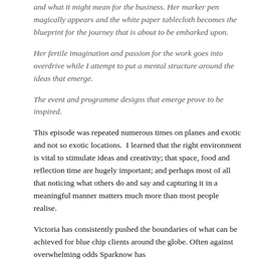and what it might mean for the business. Her marker pen magically appears and the white paper tablecloth becomes the blueprint for the journey that is about to be embarked upon.
Her fertile imagination and passion for the work goes into overdrive while I attempt to put a mental structure around the ideas that emerge.
The event and programme designs that emerge prove to be inspired.
This episode was repeated numerous times on planes and exotic and not so exotic locations.  I learned that the right environment is vital to stimulate ideas and creativity; that space, food and reflection time are hugely important; and perhaps most of all that noticing what others do and say and capturing it in a meaningful manner matters much more than most people realise.
Victoria has consistently pushed the boundaries of what can be achieved for blue chip clients around the globe. Often against overwhelming odds Sparknow has